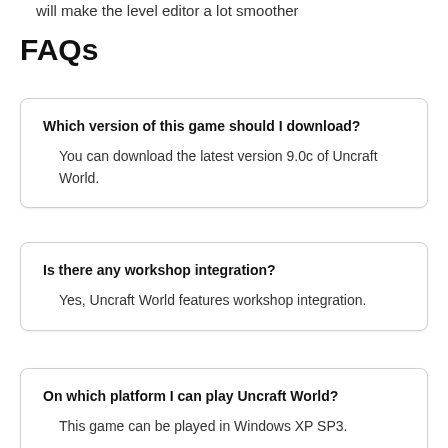will make the level editor a lot smoother
FAQs
Which version of this game should I download?
You can download the latest version 9.0c of Uncraft World.
Is there any workshop integration?
Yes, Uncraft World features workshop integration.
On which platform I can play Uncraft World?
This game can be played in Windows XP SP3.